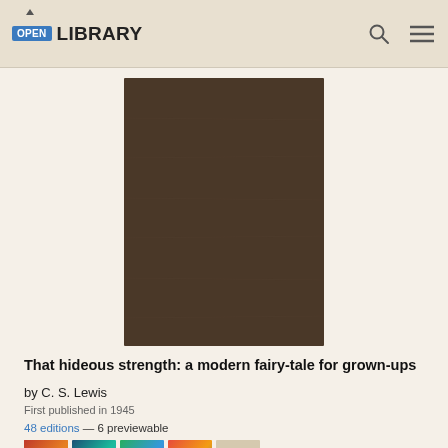OPEN LIBRARY
[Figure (photo): Book cover of 'That hideous strength' — plain dark brown cloth hardcover with no visible text or illustration on the cover.]
That hideous strength: a modern fairy-tale for grown-ups
by C. S. Lewis
First published in 1945
48 editions — 6 previewable
[Figure (photo): Row of 5 small thumbnail book cover images showing different editions of 'That Hideous Strength' by C. S. Lewis.]